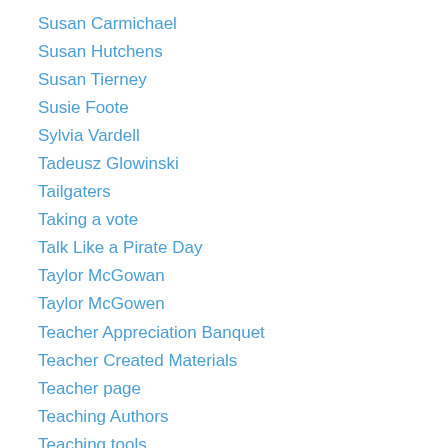Susan Carmichael
Susan Hutchens
Susan Tierney
Susie Foote
Sylvia Vardell
Tadeusz Glowinski
Tailgaters
Taking a vote
Talk Like a Pirate Day
Taylor McGowan
Taylor McGowen
Teacher Appreciation Banquet
Teacher Created Materials
Teacher page
Teaching Authors
Teaching tools
TellMeAStory
Tercet
Terrell Young
Terri Gaoddort